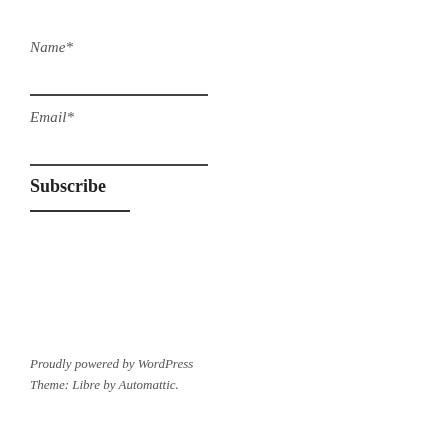Name*
Email*
Subscribe
Proudly powered by WordPress
Theme: Libre by Automattic.